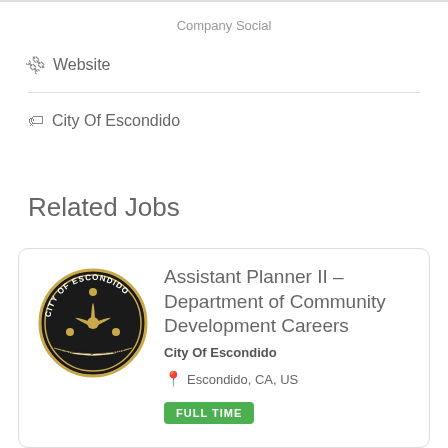Company Social
🔗 Website
🏷 City Of Escondido
Related Jobs
[Figure (logo): City of Escondido seal — circular gold and black logo with 'Celebrating 125 Years 1888-2013' text]
Assistant Planner II – Department of Community Development Careers
City Of Escondido
📍 Escondido, CA, US
FULL TIME